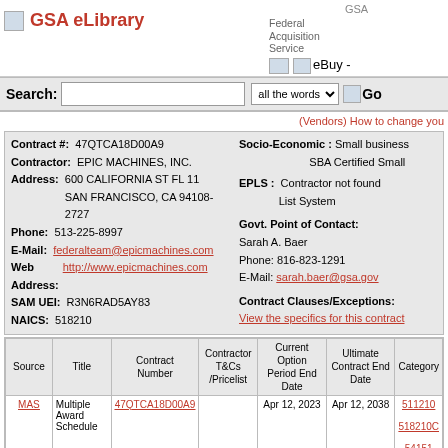GSA eLibrary | GSA Federal Acquisition Service | eBuy -
Search: [input] all the words [Go]
(Vendors) How to change you
| Contract #: | 47QTCA18D00A9 | Socio-Economic : | Small business SBA Certified Small |
| --- | --- | --- | --- |
| Contractor: | EPIC MACHINES, INC. | EPLS : | Contractor not found List System |
| Address: | 600 CALIFORNIA ST FL 11 SAN FRANCISCO, CA 94108-2727 | Govt. Point of Contact: | Sarah A. Baer
Phone: 816-823-1291
E-Mail: sarah.baer@gsa.gov |
| Phone: | 513-225-8997 |  |  |
| E-Mail: | federalteam@epicmachines.com | Contract Clauses/Exceptions: | View the specifics for this contract |
| Web Address: | http://www.epicmachines.com |  |  |
| SAM UEI: | R3N6RAD5AY83 |  |  |
| NAICS: | 518210 |  |  |
| Source | Title | Contract Number | Contractor T&Cs /Pricelist | Current Option Period End Date | Ultimate Contract End Date | Category |
| --- | --- | --- | --- | --- | --- | --- |
| MAS | Multiple Award Schedule | 47QTCA18D00A9 |  | Apr 12, 2023 | Apr 12, 2038 | 511210
518210C
54151 |